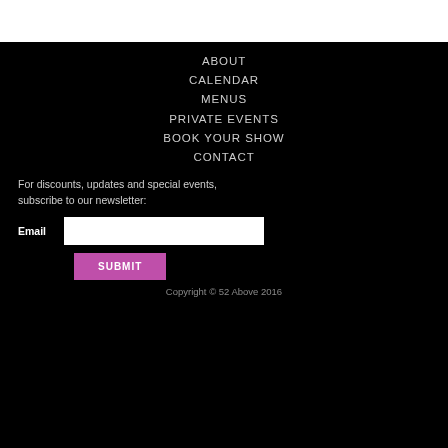ABOUT
CALENDAR
MENUS
PRIVATE EVENTS
BOOK YOUR SHOW
CONTACT
For discounts, updates and special events, subscribe to our newsletter:
Email
Copyright © 52 Above 2016